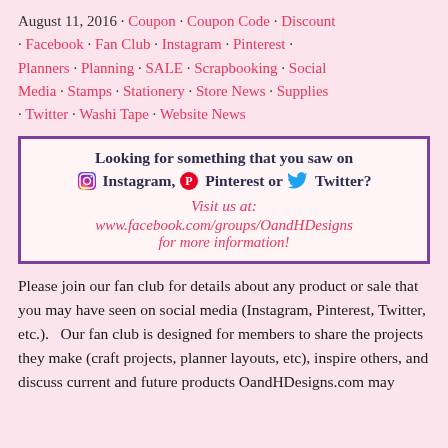August 11, 2016 · Coupon · Coupon Code · Discount · Facebook · Fan Club · Instagram · Pinterest · Planners · Planning · SALE · Scrapbooking · Social Media · Stamps · Stationery · Store News · Supplies · Twitter · Washi Tape · Website News
[Figure (infographic): Banner box with purple border on pink background. Text reads: 'Looking for something that you saw on [Instagram icon] Instagram, [Pinterest icon] Pinterest or [Twitter icon] Twitter? Visit us at: www.facebook.com/groups/OandHDesigns for more information!']
Please join our fan club for details about any product or sale that you may have seen on social media (Instagram, Pinterest, Twitter, etc.).   Our fan club is designed for members to share the projects they make (craft projects, planner layouts, etc), inspire others, and discuss current and future products OandHDesigns.com may